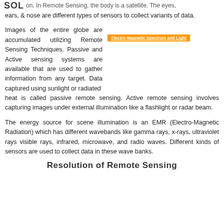SOL on. In Remote Sensing, the body is a satellite. The eyes,
ears, & nose are different types of sensors to collect variants of data.
Images of the entire globe are accumulated utilizing Remote Sensing Techniques. Passive and Active sensing systems are available that are used to gather information from any target. Data captured using sunlight or radiated heat is called passive remote sensing. Active remote sensing involves capturing images under external illumination like a flashlight or radar beam.
[Figure (other): Orange button/link labeled 'Electro-Magnetic Spectrum and Light']
The energy source for scene illumination is an EMR (Electro-Magnetic Radiation) which has different wavebands like gamma rays, x-rays, ultraviolet rays visible rays, infrared, microwave, and radio waves. Different kinds of sensors are used to collect data in these wave banks.
Resolution of Remote Sensing